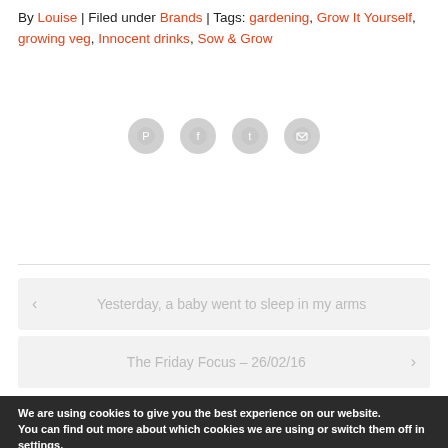By Louise | Filed under Brands | Tags: gardening, Grow It Yourself, growing veg, Innocent drinks, Sow & Grow
[Figure (other): Social sharing icons: Pinterest, Facebook, Twitter, Email]
< Yesterday, a baby went to sleep in my arms
The Friday Focus – 26/02/16 >
We are using cookies to give you the best experience on our website.
You can find out more about which cookies we are using or switch them off in settings.
Accept